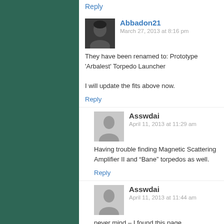Abbadon21
March 27, 2013 at 8:16 pm
They have been renamed to: Prototype 'Arbalest' Torpedo Launcher

I will update the fits above now.
Reply
Asswdai
April 11, 2013 at 11:29 am
Having trouble finding Magnetic Scattering Amplifier II and “Bane” torpedos as well.
Reply
Asswdai
April 11, 2013 at 11:44 am
never mind – I found this page.
http://wiki.eveonline.com/en/wiki/Module_change
Reply